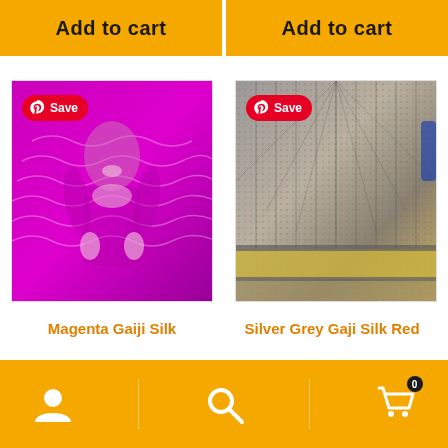[Figure (screenshot): Two orange 'Add to cart' buttons side by side at the top of a product listing page]
[Figure (photo): Magenta Gaiji Silk saree product photo with a woman wearing the garment and a Pinterest Save badge overlay]
[Figure (photo): Silver Grey Gaji Silk Red saree product photo showing intricate fabric detail and a Pinterest Save badge overlay]
Magenta Gaiji Silk
Silver Grey Gaji Silk Red
[Figure (screenshot): Bottom navigation bar with user icon, search icon, and shopping cart icon with badge showing 0]